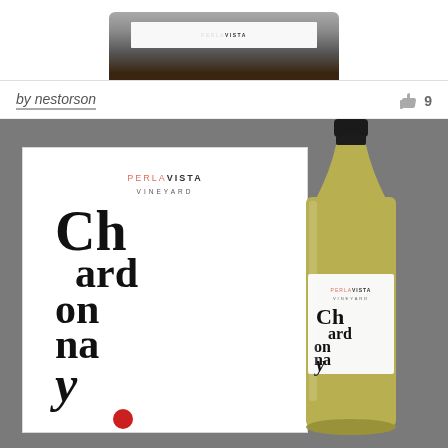[Figure (photo): Bottom portion of a wine bottle with a label strip, shown against a light background — top strip of page]
by nestorson
9
[Figure (photo): Main design showcase image on dark gray background showing a wine label card for 'Chardonnay' by Perla Vista Vineyard featuring large stylized typography, alongside a wine bottle mockup with the same label applied]